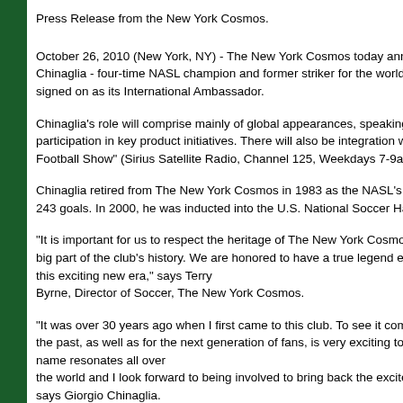Press Release from the New York Cosmos.
October 26, 2010 (New York, NY) - The New York Cosmos today announced that Giorgio Chinaglia - four-time NASL champion and former striker for the world-renowned club - has signed on as its International Ambassador.
Chinaglia's role will comprise mainly of global appearances, speaking engagements and participation in key product initiatives. There will also be integration with his "World Football Show" (Sirius Satellite Radio, Channel 125, Weekdays 7-9am ET).
Chinaglia retired from The New York Cosmos in 1983 as the NASL's all-time leading scorer with 243 goals. In 2000, he was inducted into the U.S. National Soccer Hall of Fame.
"It is important for us to respect the heritage of The New York Cosmos and Giorgio Chinaglia is a big part of the club's history. We are honored to have a true legend endorse and be a part of this exciting new era," says Terry Byrne, Director of Soccer, The New York Cosmos.
"It was over 30 years ago when I first came to this club. To see it come back, not only to honor the past, as well as for the next generation of fans, is very exciting to me. The Cosmos name resonates all over the world and I look forward to being involved to bring back the excitement," says Giorgio Chinaglia.